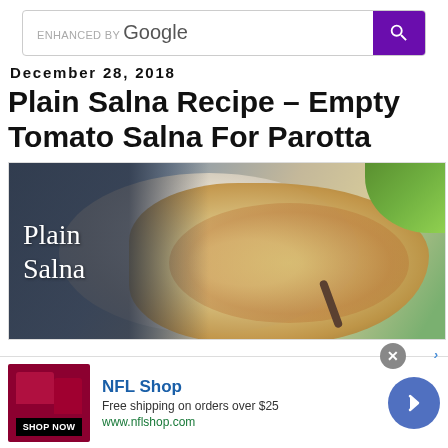[Figure (screenshot): Google enhanced search bar with purple search button]
December 28, 2018
Plain Salna Recipe – Empty Tomato Salna For Parotta
[Figure (photo): Photo of Plain Salna dish with parotta on a plate, with text overlay 'Plain Salna' on a dark blue background]
[Figure (screenshot): NFL Shop advertisement banner: Free shipping on orders over $25, www.nflshop.com, with SHOP NOW button and forward arrow]